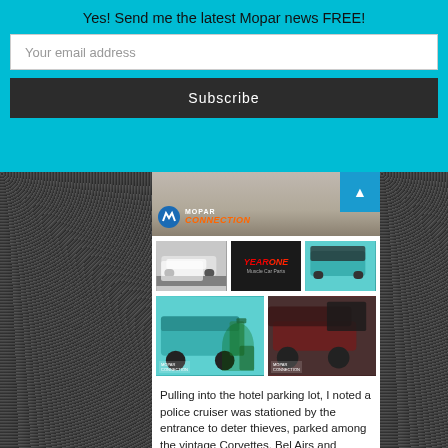Yes! Send me the latest Mopar news FREE!
Your email address
Subscribe
[Figure (screenshot): Mopar Connection logo overlaid on car show parking lot image]
[Figure (photo): Classic white/black muscle car thumbnail]
[Figure (photo): Year One Muscle Car Parts sign thumbnail]
[Figure (photo): Teal classic car with hood up thumbnail]
[Figure (photo): Large photo: teal Plymouth Road Runner with people standing next to it]
[Figure (photo): Large photo: dark classic car with hood open at car show]
Pulling into the hotel parking lot, I noted a police cruiser was stationed by the entrance to deter thieves, parked among the vintage Corvettes, Bel Airs and muscle cars. Mine was the only Mopar and I slowly backed it off